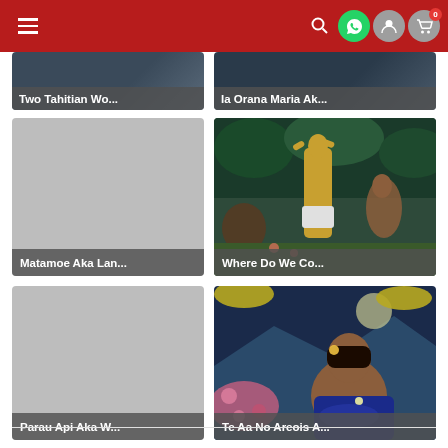Navigation header with hamburger menu, search, WhatsApp, user, and cart icons
[Figure (screenshot): Partial artwork card: Two Tahitian Wo...]
[Figure (screenshot): Partial artwork card: Ia Orana Maria Ak...]
[Figure (photo): Artwork card: Matamoe Aka Lan... (grey placeholder image)]
[Figure (photo): Artwork card: Where Do We Co... (Gauguin painting with figures)]
[Figure (photo): Artwork card: Parau Api Aka W... (grey placeholder image)]
[Figure (photo): Artwork card: Te Aa No Areois A... (Gauguin painting of seated woman with flowers)]